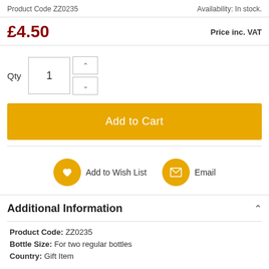Product Code: ZZ0235
Availability: In stock.
£4.50
Price inc. VAT
Qty 1
Add to Cart
Add to Wish List
Email
Additional Information
Product Code: ZZ0235
Bottle Size: For two regular bottles
Country: Gift Item